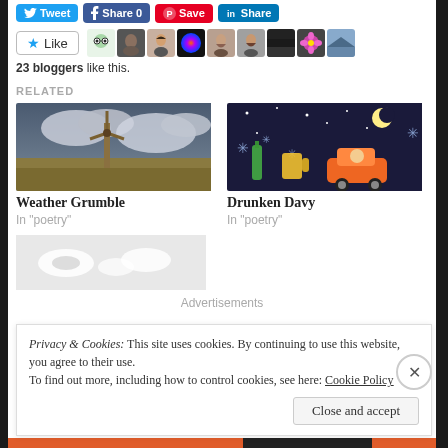[Figure (screenshot): Social sharing buttons: Tweet, Share 0 (Facebook), Save (Pinterest), Share (LinkedIn)]
[Figure (screenshot): Like button with star icon, followed by a row of 9 blogger avatar thumbnails]
23 bloggers like this.
RELATED
[Figure (photo): Windmill under dramatic cloudy sky - illustration for Weather Grumble]
Weather Grumble
In "poetry"
[Figure (illustration): Cartoon: drunk driving scene with stars, moon, beer mug, bottle, orange car on dark background]
Drunken Davy
In "poetry"
[Figure (photo): White birds or doves in motion on light background]
Advertisements
Privacy & Cookies: This site uses cookies. By continuing to use this website, you agree to their use.
To find out more, including how to control cookies, see here: Cookie Policy
Close and accept